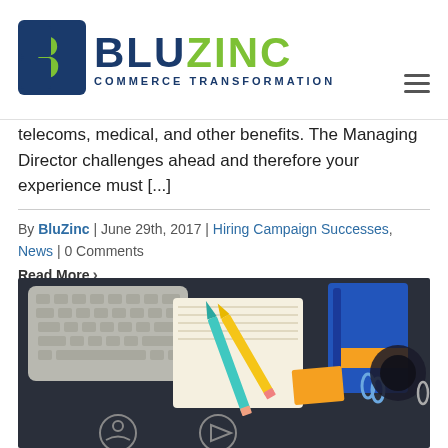BluZinc Commerce Transformation
telecoms, medical, and other benefits. The Managing Director challenges ahead and therefore your experience must [...]
By BluZinc | June 29th, 2017 | Hiring Campaign Successes, News | 0 Comments
Read More >
[Figure (photo): Overhead flat lay of a dark surface with a laptop keyboard, yellow and teal pencils, a notebook, paper clips, orange sticky note, and circular marketing icons]